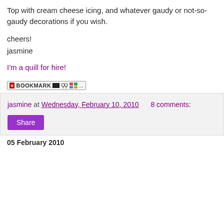Top with cream cheese icing, and whatever gaudy or not-so-gaudy decorations if you wish.
cheers!
jasmine
I'm a quill for hire!
[Figure (screenshot): Bookmark button widget with red plus icon, 'BOOKMARK' text, and small social icons]
jasmine at Wednesday, February 10, 2010   8 comments:
Share
05 February 2010